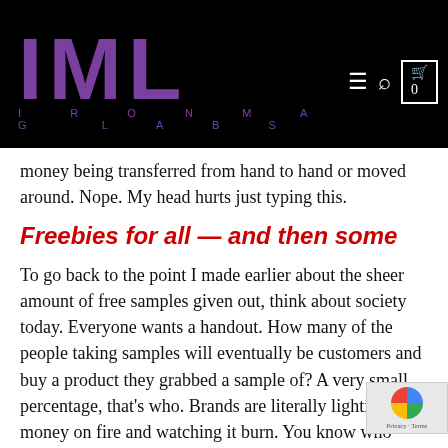IML IRONMAG LABS
money being transferred from hand to hand or moved around. Nope. My head hurts just typing this.
Freebies for all — and then some
To go back to the point I made earlier about the sheer amount of free samples given out, think about society today. Everyone wants a handout. How many of the people taking samples will eventually be customers and buy a product they grabbed a sample of? A very small percentage, that's who. Brands are literally lighting money on fire and watching it burn. You know who remembers the brands that don't